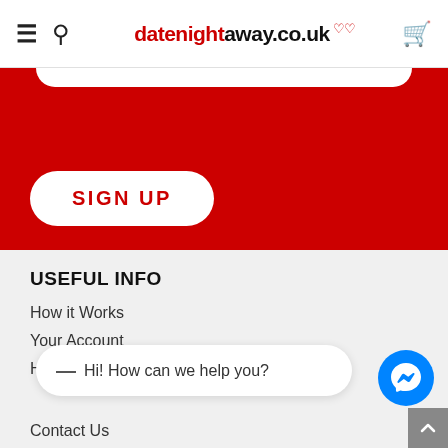≡ 🔍 datenightaway.co.uk 🛒
[Figure (screenshot): Red banner section with white rounded input field at top and SIGN UP button]
SIGN UP
USEFUL INFO
How it Works
Your Account
Help & FAQ's
Hi! How can we help you?
Contact Us